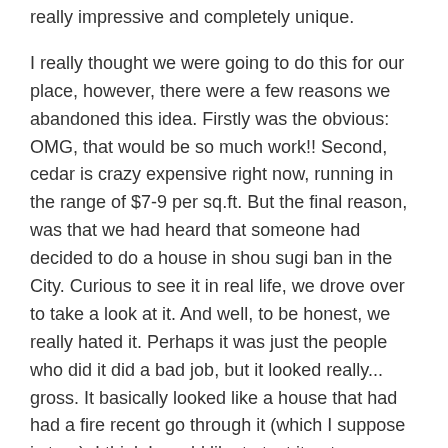really impressive and completely unique.
I really thought we were going to do this for our place, however, there were a few reasons we abandoned this idea. Firstly was the obvious: OMG, that would be so much work!! Second, cedar is crazy expensive right now, running in the range of $7-9 per sq.ft. But the final reason, was that we had heard that someone had decided to do a house in shou sugi ban in the City. Curious to see it in real life, we drove over to take a look at it. And well, to be honest, we really hated it. Perhaps it was just the people who did it did a bad job, but it looked really... gross. It basically looked like a house that had had a fire recent go through it (which I suppose is true). I think I would like to test it out on a shed or coffee table or something before I invest thousands of dollars into the siding of my house and ended up hating myself over it.
So, we turned to the natural and perhaps, most obvious